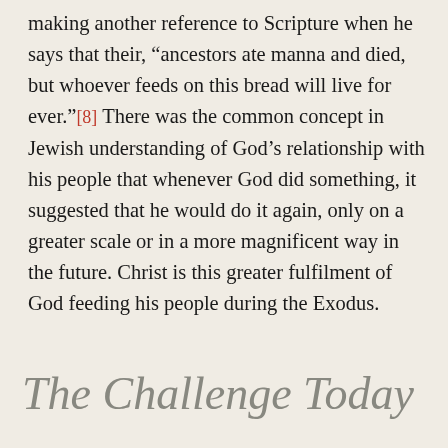making another reference to Scripture when he says that their, “ancestors ate manna and died, but whoever feeds on this bread will live for ever.”[8] There was the common concept in Jewish understanding of God’s relationship with his people that whenever God did something, it suggested that he would do it again, only on a greater scale or in a more magnificent way in the future. Christ is this greater fulfilment of God feeding his people during the Exodus.
The Challenge Today